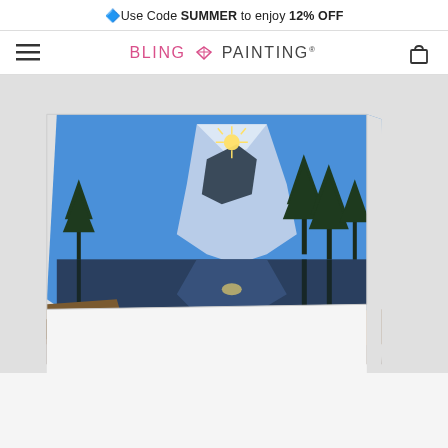🔷Use Code SUMMER to enjoy 12% OFF
[Figure (logo): Bling Painting brand logo with diamond icon, navigation hamburger menu and cart icon]
[Figure (photo): Paint by numbers canvas product photo showing a mountain landscape with snow-capped peak, pine trees, lake reflection, and autumn foliage in foreground. Canvas shown at an angle.]